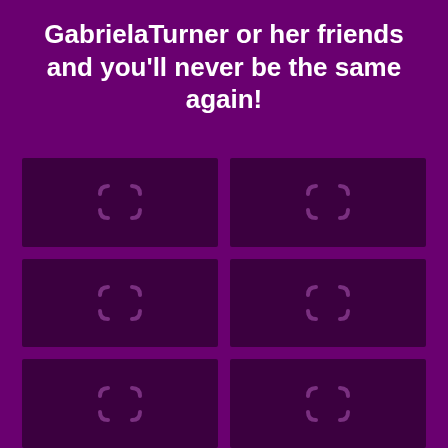GabrielaTurner or her friends and you'll never be the same again!
[Figure (illustration): A 2x3 grid of dark purple placeholder thumbnail boxes, each containing a loading spinner icon (open parenthesis arc shape) in a slightly lighter purple, on a deep purple background.]